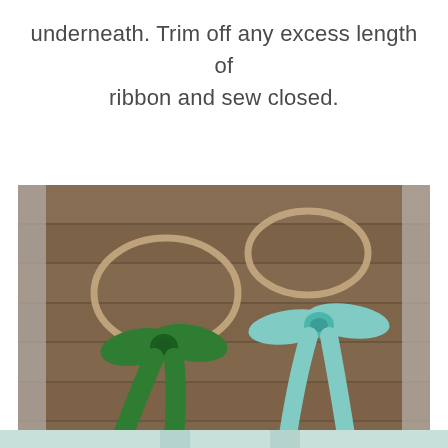underneath. Trim off any excess length of ribbon and sew closed.
[Figure (photo): Two ribbon bows on nylon hair ties laid on a wooden plank background. Left bow is dark green velvet with long ribbon tails. Right bow is mint/teal velvet with long ribbon tails. A partial view of a light-colored ribbon is visible at the bottom edge.]